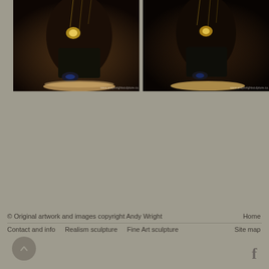[Figure (photo): Close-up photo of a dark sculpture figure showing lower body and base, with gold accents. Watermark: www.andywrightsculpture.co.uk]
[Figure (photo): Close-up photo of a dark sculpture figure showing lower body and base from a different angle, with gold accents. Watermark: www.andywrightsculpture.co.uk]
© Original artwork and images copyright Andy Wright   Home   Contact and info   Realism sculpture   Fine Art sculpture   Site map